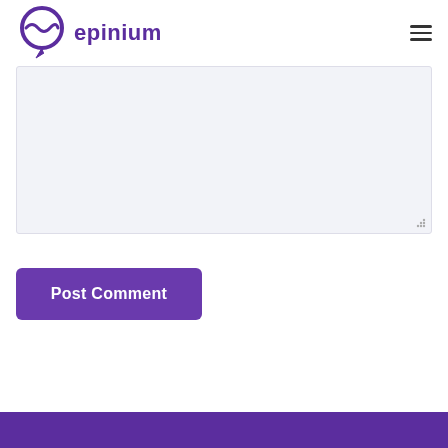epinium
[Figure (screenshot): Comment textarea input field with light lavender background]
[Figure (screenshot): Post Comment button in purple]